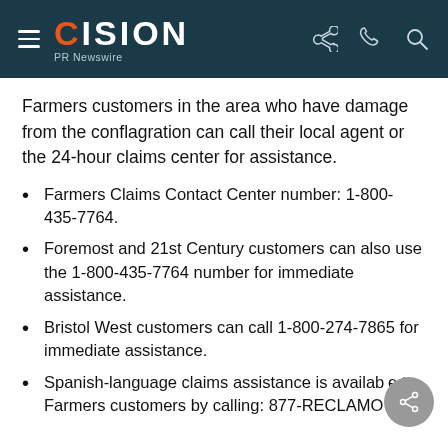CISION PR Newswire
Farmers customers in the area who have damage from the conflagration can call their local agent or the 24-hour claims center for assistance.
Farmers Claims Contact Center number: 1-800-435-7764.
Foremost and 21st Century customers can also use the 1-800-435-7764 number for immediate assistance.
Bristol West customers can call 1-800-274-7865 for immediate assistance.
Spanish-language claims assistance is available to Farmers customers by calling: 877-RECLAMO